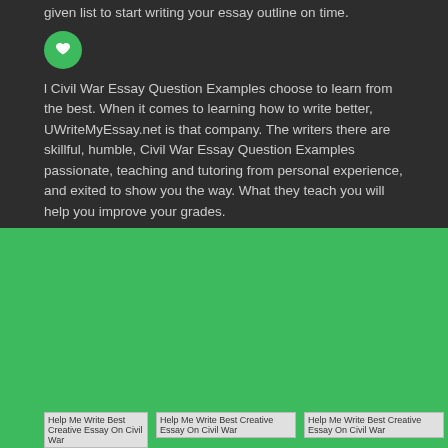given list to start writing your essay outline on time.
[Figure (illustration): Green circular icon with a heart/bookmark symbol in white]
l Civil War Essay Question Examples choose to learn from the best. When it comes to learning how to write better, UWriteMyEssay.net is that company. The writers there are skillful, humble, Civil War Essay Question Examples passionate, teaching and tutoring from personal experience, and exited to show you the way. What they teach you will help you improve your grades.
[Figure (illustration): Help Me Write Best Creative Essay On Civil War - broken image placeholder]
[Figure (illustration): Help Me Write Best Creative Essay On Civil War - broken image placeholder]
[Figure (illustration): Help Me Write Best Creative Essay On Civil War - broken image placeholder]